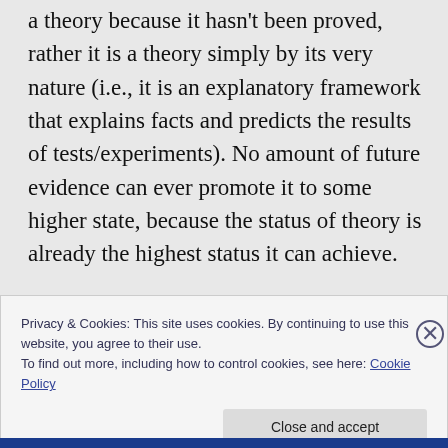a theory because it hasn't been proved, rather it is a theory simply by its very nature (i.e., it is an explanatory framework that explains facts and predicts the results of tests/experiments). No amount of future evidence can ever promote it to some higher state, because the status of theory is already the highest status it can achieve.
Privacy & Cookies: This site uses cookies. By continuing to use this website, you agree to their use.
To find out more, including how to control cookies, see here: Cookie Policy